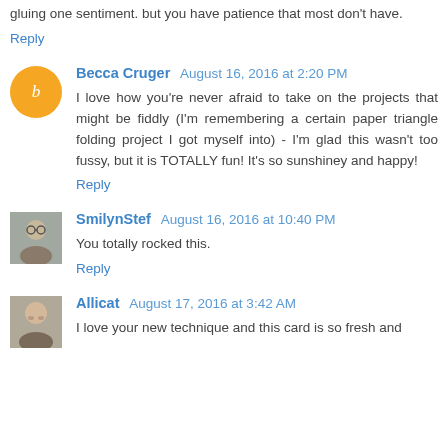gluing one sentiment. but you have patience that most don't have.
Reply
Becca Cruger  August 16, 2016 at 2:20 PM
I love how you're never afraid to take on the projects that might be fiddly (I'm remembering a certain paper triangle folding project I got myself into) - I'm glad this wasn't too fussy, but it is TOTALLY fun! It's so sunshiney and happy!
Reply
SmilynStef  August 16, 2016 at 10:40 PM
You totally rocked this.
Reply
Allicat  August 17, 2016 at 3:42 AM
I love your new technique and this card is so fresh and